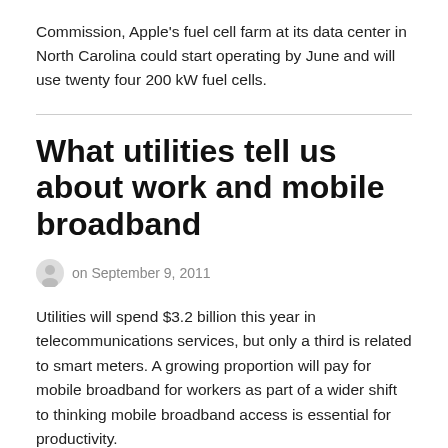Commission, Apple's fuel cell farm at its data center in North Carolina could start operating by June and will use twenty four 200 kW fuel cells.
What utilities tell us about work and mobile broadband
on September 9, 2011
Utilities will spend $3.2 billion this year in telecommunications services, but only a third is related to smart meters. A growing proportion will pay for mobile broadband for workers as part of a wider shift to thinking mobile broadband access is essential for productivity.